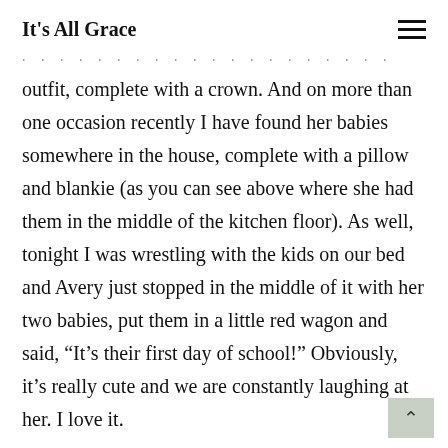It's All Grace
outfit, complete with a crown. And on more than one occasion recently I have found her babies somewhere in the house, complete with a pillow and blankie (as you can see above where she had them in the middle of the kitchen floor). As well, tonight I was wrestling with the kids on our bed and Avery just stopped in the middle of it with her two babies, put them in a little red wagon and said, “It’s their first day of school!” Obviously, it’s really cute and we are constantly laughing at her. I love it.